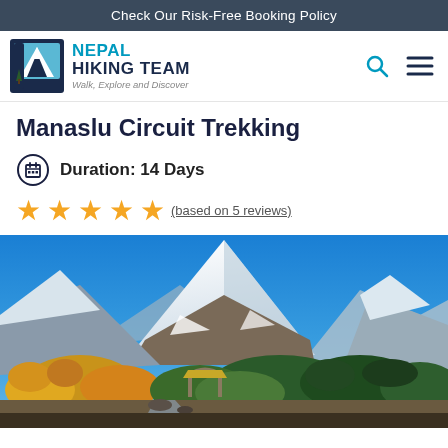Check Our Risk-Free Booking Policy
[Figure (logo): Nepal Hiking Team logo — square icon with mountain silhouette in blue/dark blue, with text NEPAL HIKING TEAM and tagline Walk, Explore and Discover]
Manaslu Circuit Trekking
Duration: 14 Days
(based on 5 reviews)
[Figure (photo): Photograph of snow-capped Manaslu mountain peak with bright blue sky, autumn-colored trees and forest in the foreground, a small stone gateway/arch structure visible among the trees]